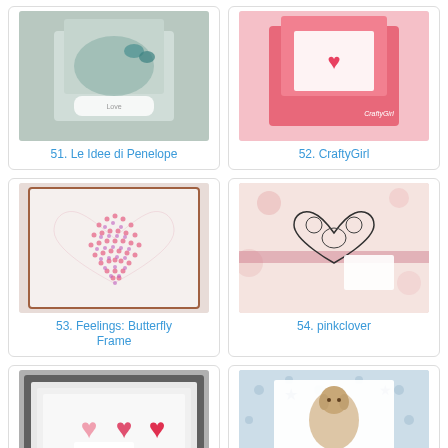[Figure (photo): Craft card by Le Idee di Penelope - decorative box with flowers and butterflies]
51. Le Idee di Penelope
[Figure (photo): Pink gift box card by CraftyGirl with hearts and balloons]
52. CraftyGirl
[Figure (photo): Butterfly heart artwork by Feelings: Butterfly Frame - heart shape made of butterflies]
53. Feelings: Butterfly Frame
[Figure (photo): Floral lace heart card by pinkclover on pink floral background]
54. pinkclover
[Figure (photo): Framed heart card by Diny with pink and red hearts]
55. Diny
[Figure (photo): Star and dog illustration card by Zora with Augenblick text]
56. Zora